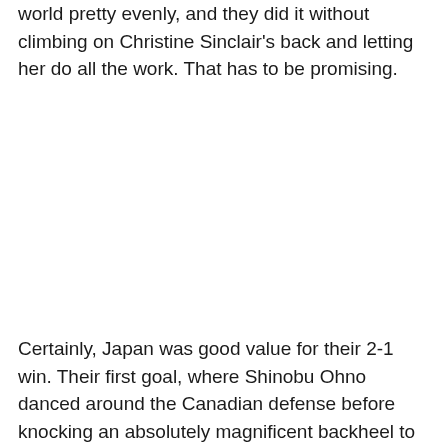world pretty evenly, and they did it without climbing on Christine Sinclair's back and letting her do all the work. That has to be promising.
Certainly, Japan was good value for their 2-1 win. Their first goal, where Shinobu Ohno danced around the Canadian defense before knocking an absolutely magnificent backheel to Nahomi Kawasumi for an